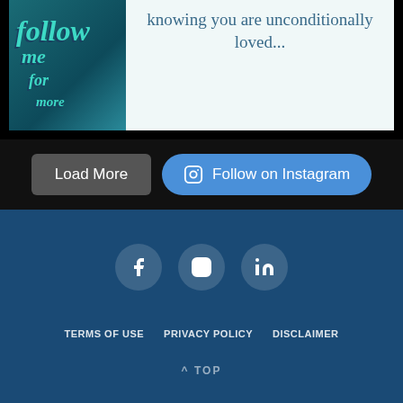[Figure (screenshot): Instagram post card showing teal ocean background on left with 'follow me for more' text, and white/light background on right with quote text 'knowing you are unconditionally loved...' in dark teal serif font]
[Figure (screenshot): Two buttons: 'Load More' (dark gray rounded rectangle) and 'Follow on Instagram' (blue pill-shaped button with Instagram icon) on black background]
[Figure (screenshot): Footer section with dark blue background containing social media icons (Facebook, Instagram, LinkedIn), footer links (TERMS OF USE, PRIVACY POLICY, DISCLAIMER), and TOP navigation link]